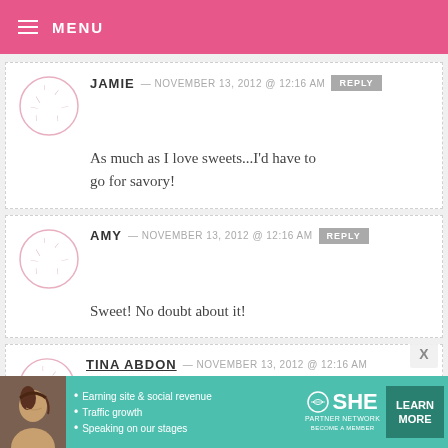MENU
JAMIE — NOVEMBER 13, 2012 @ 12:16 AM [REPLY]
As much as I love sweets...I'd have to go for savory!
AMY — NOVEMBER 13, 2012 @ 12:16 AM [REPLY]
Sweet! No doubt about it!
TINA ABDON — NOVEMBER 13, 2012 @ 12:16 AM
[Figure (infographic): Advertisement banner for SHE Partner Network with teal background. Bullets: Earning site & social revenue, Traffic growth, Speaking on our stages. SHE logo and LEARN MORE button.]